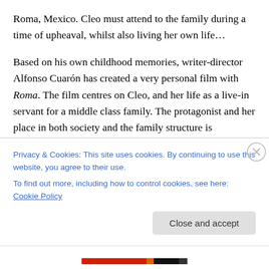Roma, Mexico. Cleo must attend to the family during a time of upheaval, whilst also living her own life…
Based on his own childhood memories, writer-director Alfonso Cuarón has created a very personal film with Roma. The film centres on Cleo, and her life as a live-in servant for a middle class family. The protagonist and her place in both society and the family structure is established early on. Cuarón follows Cleo as she washes clothes on the roof. As the camera pans round, viewers see Cleo is just one of many maids doing exactly the
Privacy & Cookies: This site uses cookies. By continuing to use this website, you agree to their use.
To find out more, including how to control cookies, see here: Cookie Policy